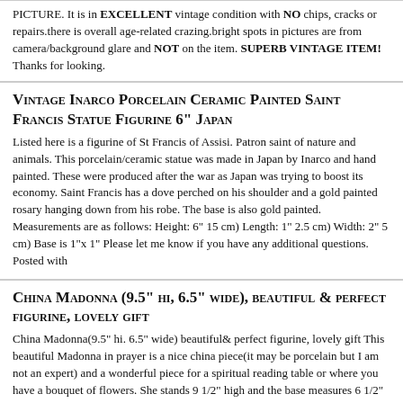PICTURE. It is in EXCELLENT vintage condition with NO chips, cracks or repairs.there is overall age-related crazing.bright spots in pictures are from camera/background glare and NOT on the item. SUPERB VINTAGE ITEM! Thanks for looking.
Vintage Inarco Porcelain Ceramic Painted Saint Francis Statue Figurine 6" Japan
Listed here is a figurine of St Francis of Assisi. Patron saint of nature and animals. This porcelain/ceramic statue was made in Japan by Inarco and hand painted. These were produced after the war as Japan was trying to boost its economy. Saint Francis has a dove perched on his shoulder and a gold painted rosary hanging down from his robe. The base is also gold painted. Measurements are as follows: Height: 6" 15 cm) Length: 1" 2.5 cm) Width: 2" 5 cm) Base is 1"x 1" Please let me know if you have any additional questions. Posted with
China Madonna (9.5" hi, 6.5" wide), beautiful & perfect figurine, lovely gift
China Madonna(9.5" hi. 6.5" wide) beautiful& perfect figurine, lovely gift This beautiful Madonna in prayer is a nice china piece(it may be porcelain but I am not an expert) and a wonderful piece for a spiritual reading table or where you have a bouquet of flowers. She stands 9 1/2" high and the base measures 6 1/2" There are no chips. Cracks or flaws.
ST. JOSEPH AND CHILD - PLANTER - STATUE - FIGURINE - 6 INCHES